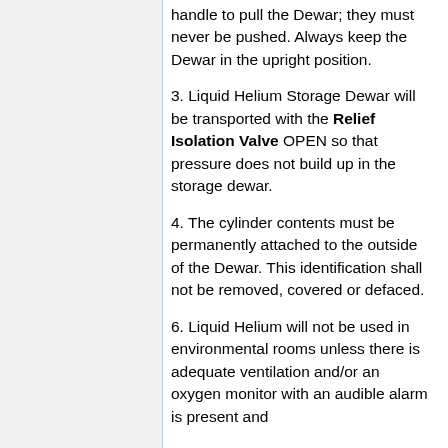handle to pull the Dewar; they must never be pushed. Always keep the Dewar in the upright position.
3. Liquid Helium Storage Dewar will be transported with the Relief Isolation Valve OPEN so that pressure does not build up in the storage dewar.
4. The cylinder contents must be permanently attached to the outside of the Dewar. This identification shall not be removed, covered or defaced.
6. Liquid Helium will not be used in environmental rooms unless there is adequate ventilation and/or an oxygen monitor with an audible alarm is present and